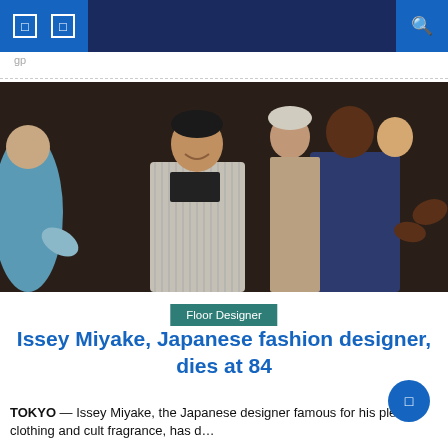[Figure (photo): Issey Miyake smiling on a fashion runway, surrounded by models applauding. He wears a striped jacket over a black turtleneck. Models wear various outfits including blue and floral designs.]
Floor Designer
Issey Miyake, Japanese fashion designer, dies at 84
TOKYO — Issey Miyake, the Japanese designer famous for his pleated clothing and cult fragrance, has d…